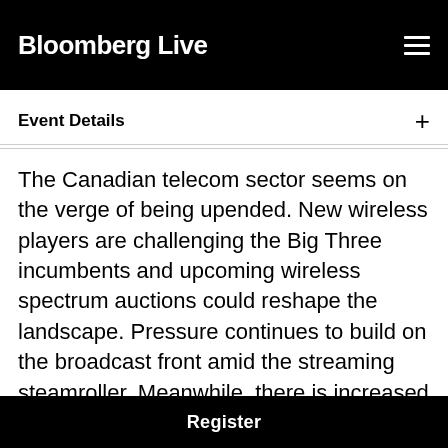Bloomberg Live
Event Details
The Canadian telecom sector seems on the verge of being upended. New wireless players are challenging the Big Three incumbents and upcoming wireless spectrum auctions could reshape the landscape. Pressure continues to build on the broadcast front amid the streaming steamroller. Meanwhile, there is increased need for infrastructure spending to
Register